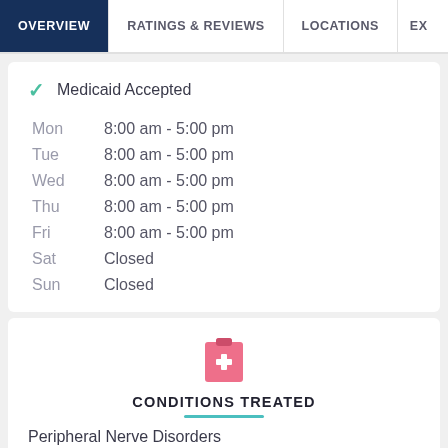OVERVIEW | RATINGS & REVIEWS | LOCATIONS | EX
✓ Medicaid Accepted
| Day | Hours |
| --- | --- |
| Mon | 8:00 am - 5:00 pm |
| Tue | 8:00 am - 5:00 pm |
| Wed | 8:00 am - 5:00 pm |
| Thu | 8:00 am - 5:00 pm |
| Fri | 8:00 am - 5:00 pm |
| Sat | Closed |
| Sun | Closed |
CONDITIONS TREATED
Peripheral Nerve Disorders